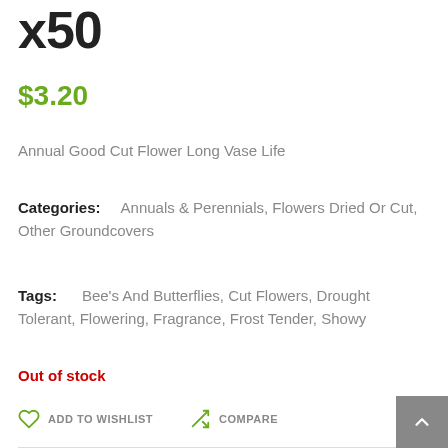x50
$3.20
Annual Good Cut Flower Long Vase Life
Categories: Annuals & Perennials, Flowers Dried Or Cut, Other Groundcovers
Tags: Bee's And Butterflies, Cut Flowers, Drought Tolerant, Flowering, Fragrance, Frost Tender, Showy
Out of stock
ADD TO WISHLIST   COMPARE